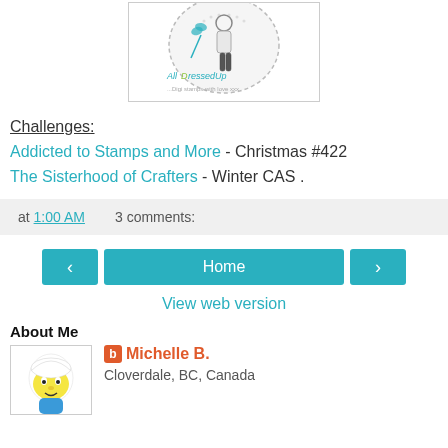[Figure (illustration): AllDressedUp logo with illustrated woman figure and decorative heart/lace shape, teal and pink text reading AllDressedUp ...Digi stamps with love xxx]
Challenges: Addicted to Stamps and More - Christmas #422 The Sisterhood of Crafters - Winter CAS .
at 1:00 AM   3 comments:
Home
View web version
About Me
[Figure (illustration): Smurf character avatar image]
Michelle B. Cloverdale, BC, Canada